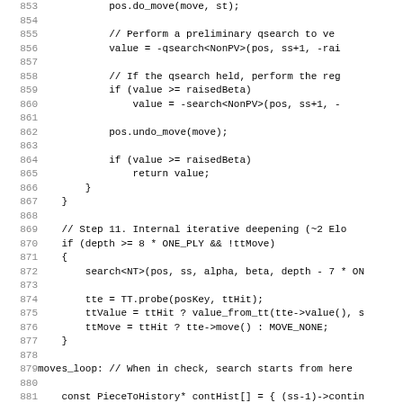[Figure (other): Source code listing showing lines 853-884 of a C++ chess engine search function, featuring code for qsearch, undo_move, Internal Iterative Deepening (Step 11), and moves_loop label.]